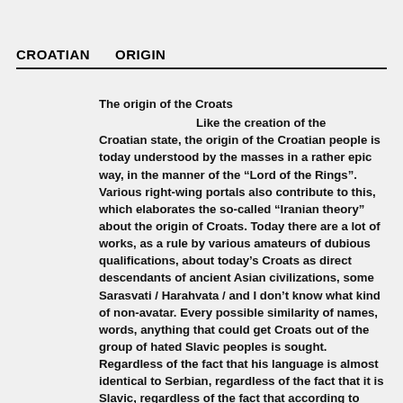CROATIAN   ORIGIN
The origin of the Croats

Like the creation of the Croatian state, the origin of the Croatian people is today understood by the masses in a rather epic way, in the manner of the “Lord of the Rings”. Various right-wing portals also contribute to this, which elaborates the so-called “Iranian theory” about the origin of Croats. Today there are a lot of works, as a rule by various amateurs of dubious qualifications, about today’s Croats as direct descendants of ancient Asian civilizations, some Sarasvati / Harahvata / and I don’t know what kind of non-avatar. Every possible similarity of names, words, anything that could get Croats out of the group of hated Slavic peoples is sought. Regardless of the fact that his language is almost identical to Serbian, regardless of the fact that it is Slavic, regardless of the fact that according to some statistics, 60 percent of Croatian and the largest